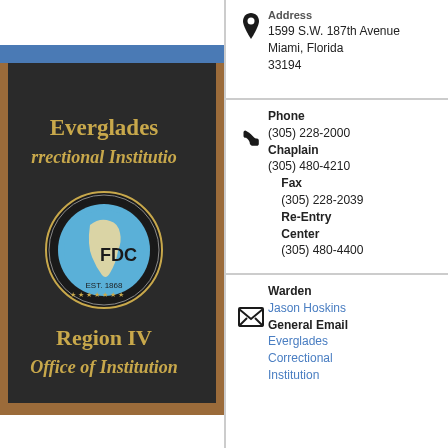[Figure (photo): Everglades Correctional Institution sign with Florida Department of Corrections emblem (FDC logo), Region IV Office of Institutions, on dark chalkboard background with brown wood border]
Address
1599 S.W. 187th Avenue
Miami, Florida 33194
Phone
(305) 228-2000
Chaplain
(305) 480-4210
Fax
(305) 228-2039
Re-Entry Center
(305) 480-4400
Warden
Jason Hoskins
General Email
Everglades Correctional Institution